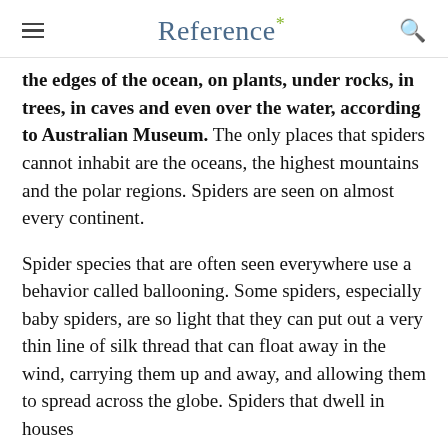Reference*
the edges of the ocean, on plants, under rocks, in trees, in caves and even over the water, according to Australian Museum. The only places that spiders cannot inhabit are the oceans, the highest mountains and the polar regions. Spiders are seen on almost every continent.
Spider species that are often seen everywhere use a behavior called ballooning. Some spiders, especially baby spiders, are so light that they can put out a very thin line of silk thread that can float away in the wind, carrying them up and away, and allowing them to spread across the globe. Spiders that dwell in houses